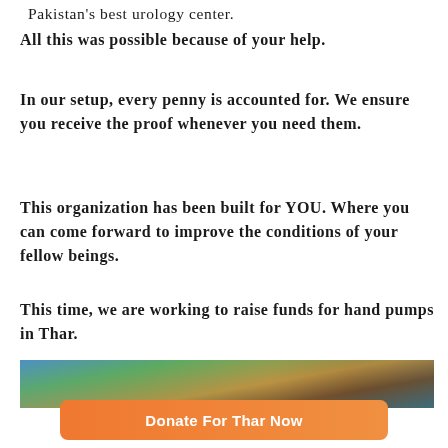Pakistan's best urology center.
All this was possible because of your help.
In our setup, every penny is accounted for. We ensure you receive the proof whenever you need them.
This organization has been built for YOU. Where you can come forward to improve the conditions of your fellow beings.
This time, we are working to raise funds for hand pumps in Thar.
[Figure (photo): A photograph showing people outdoors, likely in a rural or charitable setting related to Thar.]
Donate For Thar Now